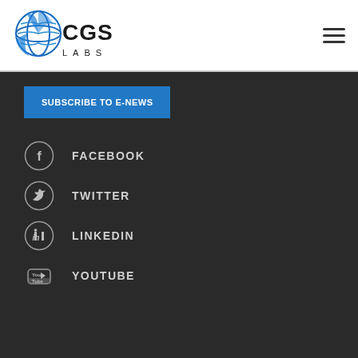[Figure (logo): CGS Labs logo with blue globe icon and text CGS LABS]
[Figure (other): Hamburger menu icon (three horizontal lines)]
SUBSCRIBE TO E-NEWS
FACEBOOK
TWITTER
LINKEDIN
YOUTUBE